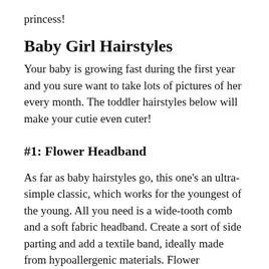princess!
Baby Girl Hairstyles
Your baby is growing fast during the first year and you sure want to take lots of pictures of her every month. The toddler hairstyles below will make your cutie even cuter!
#1: Flower Headband
As far as baby hairstyles go, this one's an ultra-simple classic, which works for the youngest of the young. All you need is a wide-tooth comb and a soft fabric headband. Create a sort of side parting and add a textile band, ideally made from hypoallergenic materials. Flower